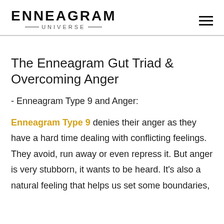ENNEAGRAM UNIVERSE
The Enneagram Gut Triad & Overcoming Anger
- Enneagram Type 9 and Anger:
Enneagram Type 9 denies their anger as they have a hard time dealing with conflicting feelings. They avoid, run away or even repress it. But anger is very stubborn, it wants to be heard. It's also a natural feeling that helps us set some boundaries,